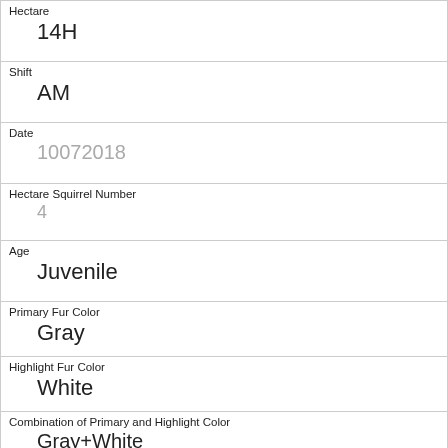| Hectare | 14H |
| Shift | AM |
| Date | 10072018 |
| Hectare Squirrel Number | 4 |
| Age | Juvenile |
| Primary Fur Color | Gray |
| Highlight Fur Color | White |
| Combination of Primary and Highlight Color | Gray+White |
| Color notes |  |
| Location | Ground Plane |
| Above Ground Sighter Measurement |  |